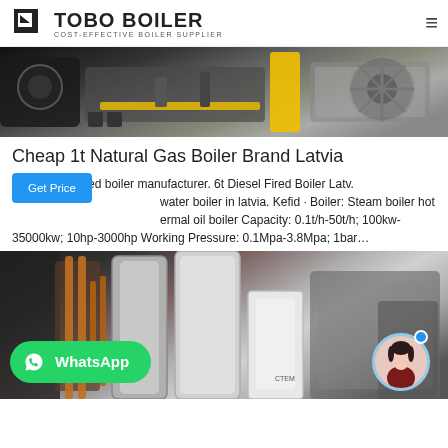TOBO BOILER COST-EFFECTIVE BOILER SUPPLIER
[Figure (photo): Industrial boiler equipment with yellow piping and machinery in a facility]
Cheap 1t Natural Gas Boiler Brand Latvia
latvia diesel fired boiler manufacturer. 6t Diesel Fired Boiler Latv. water boiler in latvia. Kefid · Boiler: Steam boiler hot ermal oil boiler Capacity: 0.1t/h-50t/h; 100kw-35000kw; 10hp-3000hp Working Pressure: 0.1Mpa-3.8Mpa; 1bar…
[Figure (photo): Industrial boiler room with steel tanks, copper piping, and white cylindrical units; WhatsApp button overlay at bottom left and avatar at bottom right]